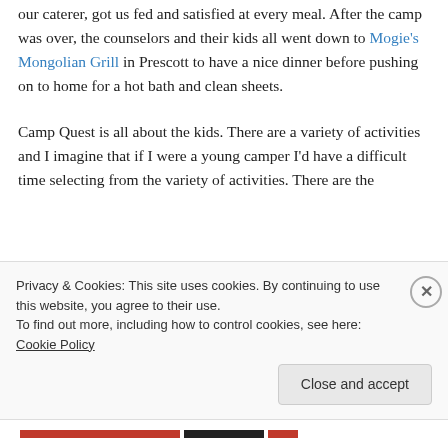our caterer, got us fed and satisfied at every meal. After the camp was over, the counselors and their kids all went down to Mogie's Mongolian Grill in Prescott to have a nice dinner before pushing on to home for a hot bath and clean sheets.
Camp Quest is all about the kids. There are a variety of activities and I imagine that if I were a young camper I'd have a difficult time selecting from the variety of activities. There are the
Privacy & Cookies: This site uses cookies. By continuing to use this website, you agree to their use.
To find out more, including how to control cookies, see here: Cookie Policy